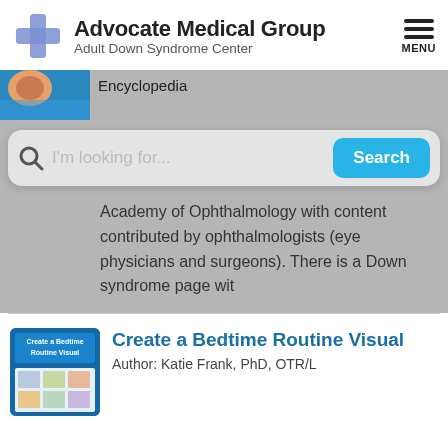[Figure (logo): Advocate Medical Group Adult Down Syndrome Center logo with blue cross and text]
Encyclopedia
I'm looking for...
Academy of Ophthalmology with content contributed by ophthalmologists (eye physicians and surgeons). There is a Down syndrome page wit
[Figure (screenshot): Create a Bedtime Routine Visual article thumbnail - blue card with title and images]
Create a Bedtime Routine Visual
Author: Katie Frank, PhD, OTR/L